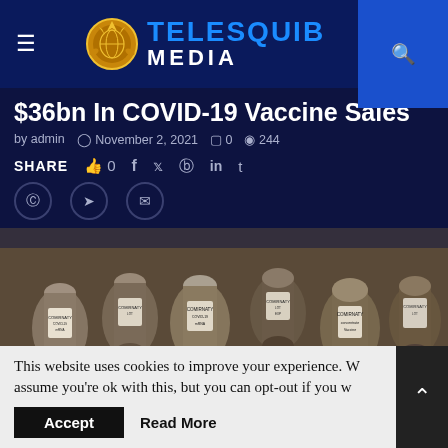TELESQUIB MEDIA
$36bn In COVID-19 Vaccine Sales
by admin  November 2, 2021  0  244
SHARE  0  f  y  in  t
[Figure (photo): Multiple COVID-19 vaccine vials (Comirnaty/Pfizer) piled together, sepia-toned photograph]
This website uses cookies to improve your experience. We assume you're ok with this, but you can opt-out if you wish.
Accept  Read More